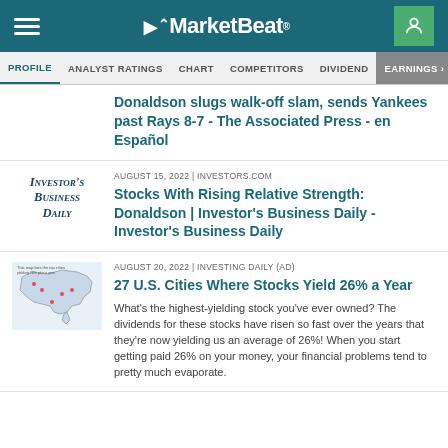MarketBeat
PROFILE | ANALYST RATINGS | CHART | COMPETITORS | DIVIDEND | EARNINGS
Donaldson slugs walk-off slam, sends Yankees past Rays 8-7 - The Associated Press - en Español
AUGUST 15, 2022 | INVESTORS.COM
Stocks With Rising Relative Strength: Donaldson | Investor's Business Daily - Investor's Business Daily
AUGUST 20, 2022 | INVESTING DAILY (AD)
27 U.S. Cities Where Stocks Yield 26% a Year
What's the highest-yielding stock you've ever owned? The dividends for these stocks have risen so fast over the years that they're now yielding us an average of 26%! When you start getting paid 26% on your money, your financial problems tend to pretty much evaporate.